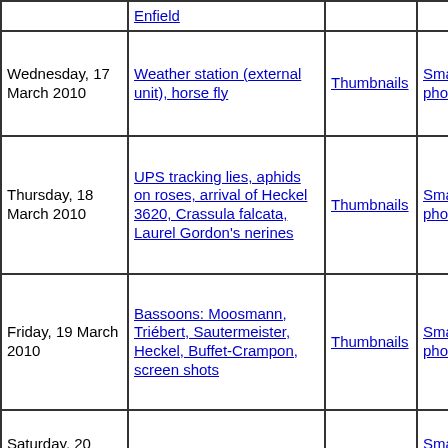| Date | Description | Thumbnails | Small photos | diary |
| --- | --- | --- | --- | --- |
| (partial - Enfield) | (link) | Thumbnails | Small photos | diary |
| Wednesday, 17 March 2010 | Weather station (external unit), horse fly | Thumbnails | Small photos | diary |
| Thursday, 18 March 2010 | UPS tracking lies, aphids on roses, arrival of Heckel 3620, Crassula falcata, Laurel Gordon's nerines | Thumbnails | Small photos | diary |
| Friday, 19 March 2010 | Bassoons: Moosmann, Triébert, Sautermeister, Heckel, Buffet-Crampon, screen shots | Thumbnails | Small photos | diary |
| Saturday, 20 March 2010 | House photos | Thumbnails | Small photos | diary |
| Sunday, 21 March 2010 | Sick Hibiscus and wattle, Chris, Yvonne, Greg, cats | Thumbnails | Small photos | diary |
| Tuesday, 23... | Comal, Japanese... |  | Small... |  |